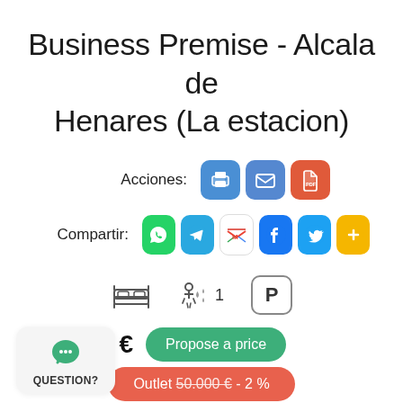Business Premise - Alcala de Henares (La estacion)
Acciones:
[Figure (infographic): Three action icon buttons: print (blue), email (blue), PDF (red/orange)]
Compartir:
[Figure (infographic): Six share icon buttons: WhatsApp (green), Telegram (blue), Gmail (multicolor), Facebook (blue), Twitter (blue), More (yellow)]
[Figure (infographic): Property amenity icons: bed icon, shower/bath icon with number 1, parking P icon]
49.000 €
Propose a price
Outlet 50.000 € - 2 %
QUESTION?